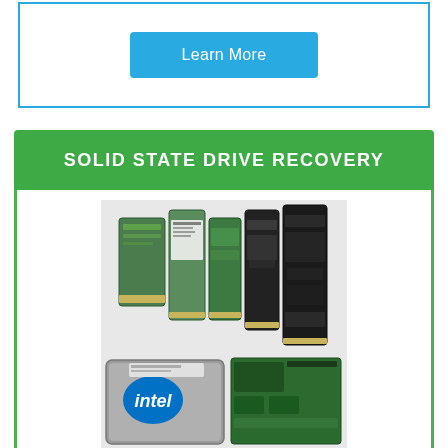[Figure (screenshot): A blue 'Learn More' button centered within a box with a teal/blue border]
SOLID STATE DRIVE RECOVERY
[Figure (photo): Various M.2 and 2.5-inch solid state drives including green circuit board M.2 drives, black M.2 drives, an Intel 2.5-inch SSD, and a green PCIe SSD card]